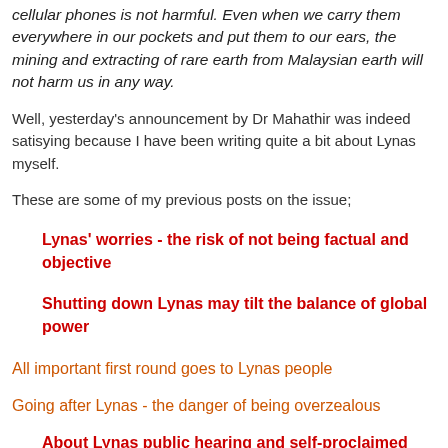cellular phones is not harmful. Even when we carry them everywhere in our pockets and put them to our ears, the mining and extracting of rare earth from Malaysian earth will not harm us in any way.
Well, yesterday's announcement by Dr Mahathir was indeed satisying because I have been writing quite a bit about Lynas myself.
These are some of my previous posts on the issue;
Lynas' worries - the risk of not being factual and objective
Shutting down Lynas may tilt the balance of global power
All important first round goes to Lynas people
Going after Lynas - the danger of being overzealous
About Lynas public hearing and self-proclaimed...